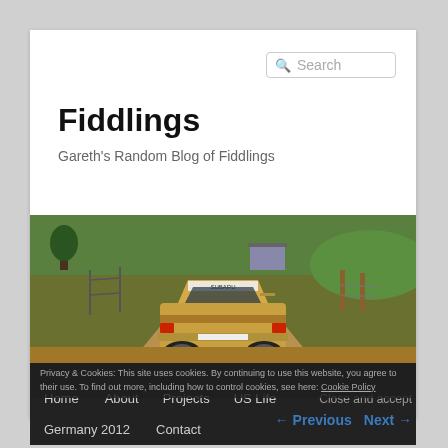Search
Fiddlings
Gareth's Random Blog of Fiddlings
[Figure (photo): A muddy Subaru rally car driving on a dirt road surrounded by green fields and fences.]
Home   About   Projects   US Life   Germany 2012   Contact
Privacy & Cookies: This site uses cookies. By continuing to use this website, you agree to their use. To find out more, including how to control cookies, see here: Cookie Policy
Close and accept
← Previous   Next →